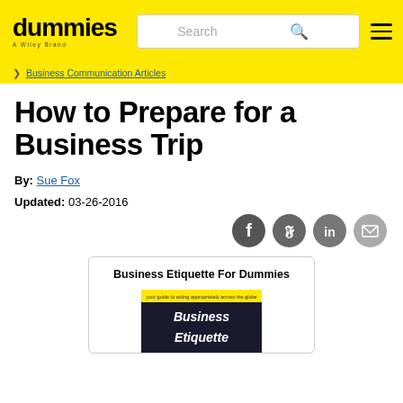dummies — A Wiley Brand | Search | Menu
Business Communication Articles
How to Prepare for a Business Trip
By: Sue Fox
Updated: 03-26-2016
[Figure (infographic): Social sharing icons: Facebook, Twitter, LinkedIn, Email]
[Figure (illustration): Book card for 'Business Etiquette For Dummies' showing book cover with yellow banner and dark cover with 'Business Etiquette' title text]